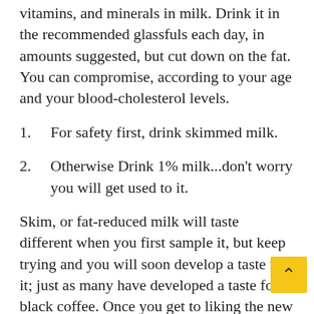vitamins, and minerals in milk. Drink it in the recommended glassfuls each day, in amounts suggested, but cut down on the fat. You can compromise, according to your age and your blood-cholesterol levels.
1.    For safety first, drink skimmed milk.
2.    Otherwise Drink 1% milk...don't worry you will get used to it.
Skim, or fat-reduced milk will taste different when you first sample it, but keep trying and you will soon develop a taste for it; just as many have developed a taste for black coffee. Once you get to liking the new kind of milk, you will much prefer it to the old and you will certainly like living longer.